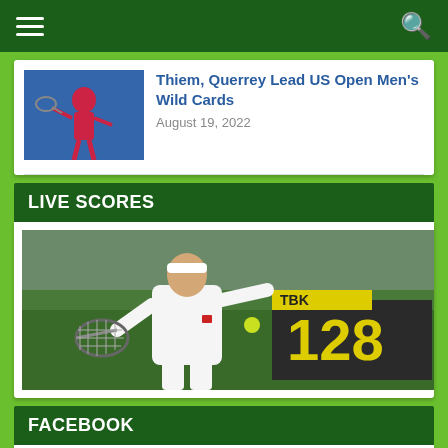Navigation bar with hamburger menu and search icon
[Figure (photo): Tennis player in red outfit hitting backhand shot at US Open]
Thiem, Querrey Lead US Open Men's Wild Cards
August 19, 2022
LIVE SCORES
[Figure (photo): Roger Federer in white outfit hitting forehand on grass court at Wimbledon, scoreboard showing 128 in background]
FACEBOOK